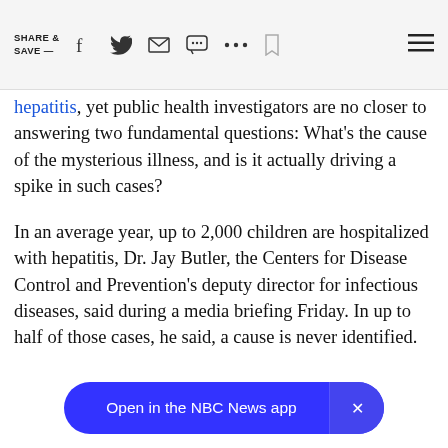SHARE & SAVE —
hepatitis, yet public health investigators are no closer to answering two fundamental questions: What's the cause of the mysterious illness, and is it actually driving a spike in such cases?
In an average year, up to 2,000 children are hospitalized with hepatitis, Dr. Jay Butler, the Centers for Disease Control and Prevention's deputy director for infectious diseases, said during a media briefing Friday. In up to half of those cases, he said, a cause is never identified.
Open in the NBC News app